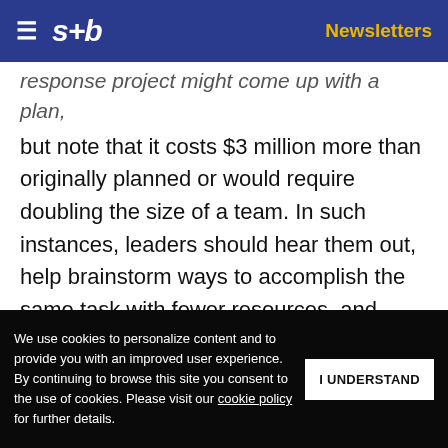≡  s+b    Newsletters
response project might come up with a plan, but note that it costs $3 million more than originally planned or would require doubling the size of a team. In such instances, leaders should hear them out, help brainstorm ways to accomplish the same task with fewer resources, and — crucially — go to bat to get them what they need.
Get s+b's award-winning newsletter delivered to your inbox.
...have to be limited to
We use cookies to personalize content and to provide you with an improved user experience. By continuing to browse this site you consent to the use of cookies. Please visit our cookie policy for further details.